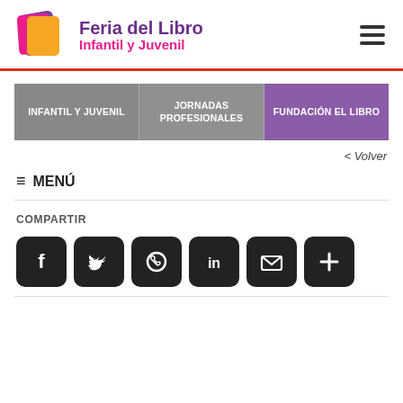[Figure (logo): Feria del Libro Infantil y Juvenil logo with colorful book icon]
Navigation menu with INFANTIL Y JUVENIL, JORNADAS PROFESIONALES, FUNDACIÓN EL LIBRO tabs
< Volver
≡ MENÚ
COMPARTIR
[Figure (screenshot): Social share icons: Facebook, Twitter, WhatsApp, LinkedIn, Email, More (plus)]